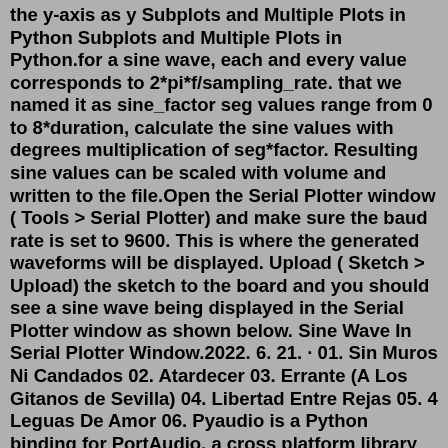the y-axis as y Subplots and Multiple Plots in Python Subplots and Multiple Plots in Python.for a sine wave, each and every value corresponds to 2*pi*f/sampling_rate. that we named it as sine_factor seg values range from 0 to 8*duration, calculate the sine values with degrees multiplication of seg*factor. Resulting sine values can be scaled with volume and written to the file.Open the Serial Plotter window ( Tools > Serial Plotter) and make sure the baud rate is set to 9600. This is where the generated waveforms will be displayed. Upload ( Sketch > Upload) the sketch to the board and you should see a sine wave being displayed in the Serial Plotter window as shown below. Sine Wave In Serial Plotter Window.2022. 6. 21. · 01. Sin Muros Ni Candados 02. Atardecer 03. Errante (A Los Gitanos de Sevilla) 04. Libertad Entre Rejas 05. 4 Leguas De Amor 06. Pyaudio is a Python binding for PortAudio, a cross platform library for input/output of audio. ... To create a stream, you need to define certain things such as the number of